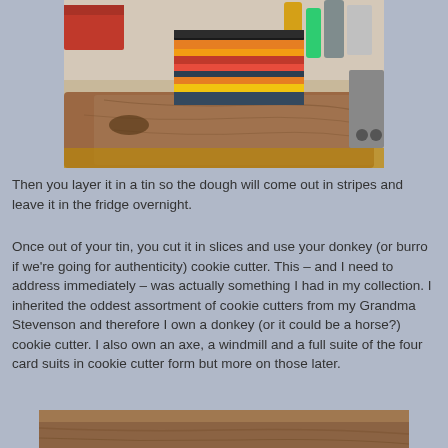[Figure (photo): A layered block of colored cookie dough (orange, red, yellow, dark/grey stripes) sitting on a large wooden cutting board on a kitchen counter. Kitchen items visible in background.]
Then you layer it in a tin so the dough will come out in stripes and leave it in the fridge overnight.
Once out of your tin, you cut it in slices and use your donkey (or burro if we're going for authenticity) cookie cutter. This – and I need to address immediately – was actually something I had in my collection. I inherited the oddest assortment of cookie cutters from my Grandma Stevenson and therefore I own a donkey (or it could be a horse?) cookie cutter. I also own an axe, a windmill and a full suite of the four card suits in cookie cutter form but more on those later.
[Figure (photo): Partial view of another photo at the bottom of the page, showing what appears to be a kitchen surface or cutting board.]